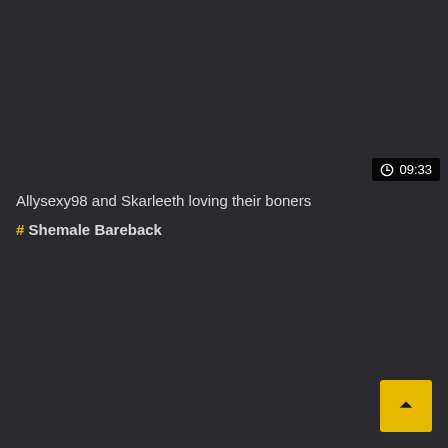⊙ 09:33
Allysexy98 and Skarleeth loving their boners
# Shemale Bareback
[Figure (other): Scroll to top button (yellow square with upward chevron arrow)]